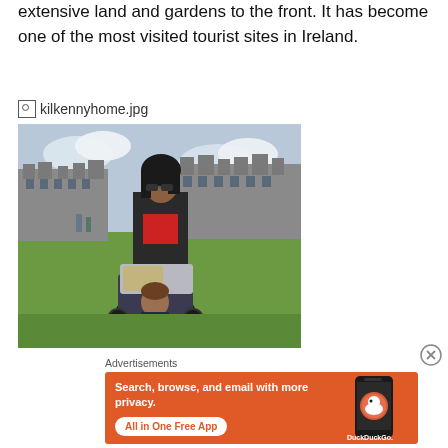extensive land and gardens to the front. It has become one of the most visited tourist sites in Ireland.
[Figure (photo): Photo filename label 'kilkennyhome.jpg' with broken image icon]
[Figure (photo): Photograph of a woman pushing a child in a stroller on a green lawn in front of Kilkenny Castle, Ireland. The woman wears sunglasses and a dark jacket over a red top. The large grey stone castle is visible in the background under a cloudy sky.]
Advertisements
[Figure (infographic): DuckDuckGo advertisement banner on orange background. Text reads: Search, browse, and email with more privacy. All in One Free App. Shows a smartphone with DuckDuckGo app and logo.]